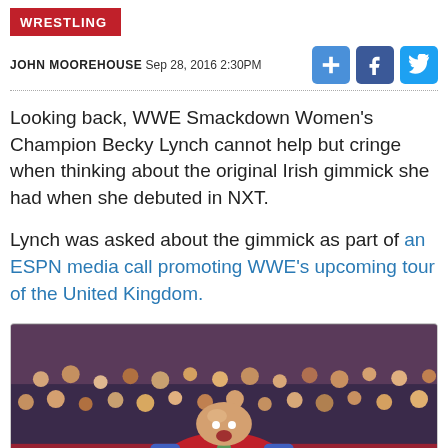WRESTLING
JOHN MOOREHOUSE SEP 28, 2016 2:30PM
Looking back, WWE Smackdown Women's Champion Becky Lynch cannot help but cringe when thinking about the original Irish gimmick she had when she debuted in NXT.
Lynch was asked about the gimmick as part of an ESPN media call promoting WWE's upcoming tour of the United Kingdom.
[Figure (photo): A bald male wrestler in a red and blue robe with a green medal around his neck, arms raised, celebrating in front of a crowd.]